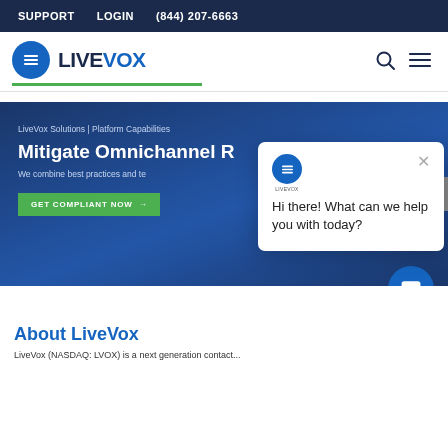SUPPORT   LOGIN   (844) 207-6663
[Figure (logo): LiveVox logo — blue circle with white lines and LIVEVOX wordmark]
[Figure (screenshot): LiveVox hero banner with text 'LiveVox Solutions | Platform Capabilities', 'Mitigate Omnichannel R...', 'We combine best practices and te...', green button 'GET COMPLIANT NOW →', and overlaid chat popup saying 'Hi there! What can we help you with today?']
About LiveVox
LiveVox (NASDAQ: LVOX) is a next generation contact...